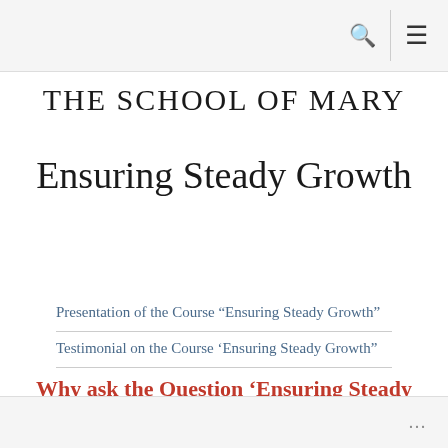THE SCHOOL OF MARY — navigation bar with search and menu icons
THE SCHOOL OF MARY
Ensuring Steady Growth
Presentation of the Course “Ensuring Steady Growth”
Testimonial on the Course ‘Ensuring Steady Growth”
Why ask the Question ‘Ensuring Steady Growth’?
...